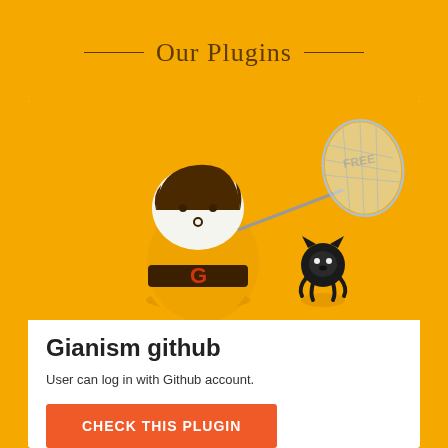Our Plugins
[Figure (illustration): Cartoon illustration of a yellow Gianism character (egg-shaped mascot with brown hair, belt with 'G' letter) holding a bug net chasing a GitHub Octocat logo on a golden yellow background.]
Gianism github
User can log in with Github account.
CHECK THIS PLUGIN